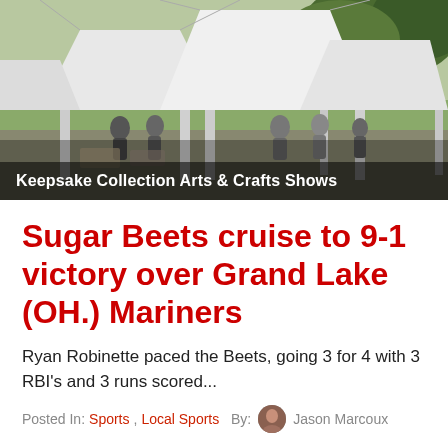[Figure (photo): Outdoor arts and crafts show with white canopy tents, people browsing, trees in background]
Keepsake Collection Arts & Crafts Shows
Sugar Beets cruise to 9-1 victory over Grand Lake (OH.) Mariners
Ryan Robinette paced the Beets, going 3 for 4 with 3 RBI's and 3 runs scored...
Posted In: Sports, Local Sports   By: Jason Marcoux